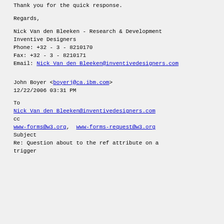Thank you for the quick response.
Regards,
Nick Van den Bleeken  -  Research & Development
Inventive Designers
Phone: +32 - 3 - 8210170
Fax: +32 - 3 - 8210171
Email: Nick Van den Bleeken@inventivedesigners.com
John Boyer <boyerj@ca.ibm.com>
12/22/2006 03:31 PM
To
Nick Van den Bleeken@inventivedesigners.com
cc
www-forms@w3.org, www-forms-request@w3.org
Subject
Re: Question about to the ref attribute on a trigger